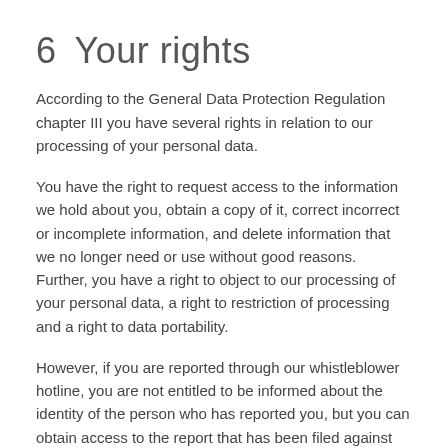6    Your rights
According to the General Data Protection Regulation chapter III you have several rights in relation to our processing of your personal data.
You have the right to request access to the information we hold about you, obtain a copy of it, correct incorrect or incomplete information, and delete information that we no longer need or use without good reasons. Further, you have a right to object to our processing of your personal data, a right to restriction of processing and a right to data portability.
However, if you are reported through our whistleblower hotline, you are not entitled to be informed about the identity of the person who has reported you, but you can obtain access to the report that has been filed against you.